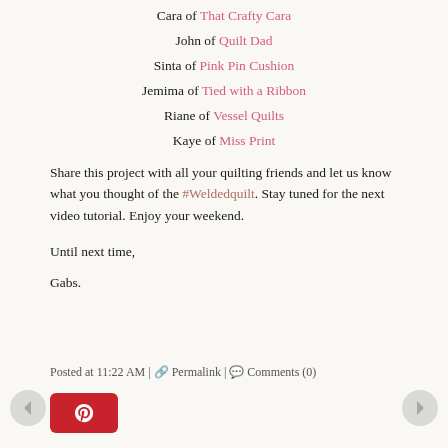Cara of That Crafty Cara
John of Quilt Dad
Sinta of Pink Pin Cushion
Jemima of Tied with a Ribbon
Riane of Vessel Quilts
Kaye of Miss Print
Share this project with all your quilting friends and let us know what you thought of the #Weldedquilt. Stay tuned for the next video tutorial. Enjoy your weekend.
Until next time,
Gabs.
Posted at 11:22 AM | Permalink | Comments (0)